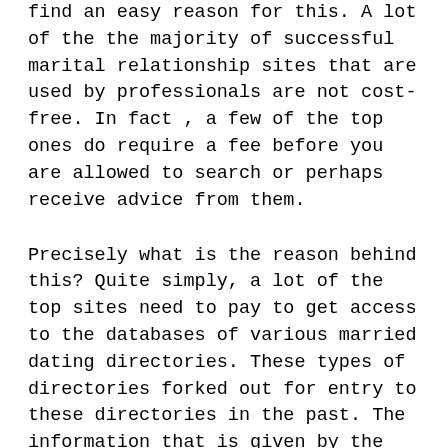find an easy reason for this. A lot of the the majority of successful marital relationship sites that are used by professionals are not cost-free. In fact , a few of the top ones do require a fee before you are allowed to search or perhaps receive advice from them.
Precisely what is the reason behind this? Quite simply, a lot of the top sites need to pay to get access to the databases of various married dating directories. These types of directories forked out for entry to these directories in the past. The information that is given by the directories is pretty valuable to any professional looking to locate potential existence partners. Specialists also pay for a fee to get access to the knowledge because it costs money to take care of the websites and maintain the databases up to date. Therefore if a web page was established which is still making big money, wouldn't you believe that the web page owner would probably wish to